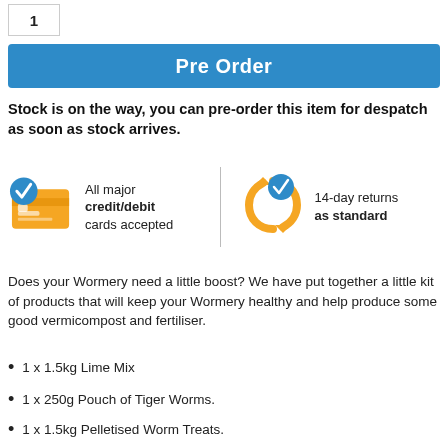1
Pre Order
Stock is on the way, you can pre-order this item for despatch as soon as stock arrives.
[Figure (infographic): Two icons: a credit card with blue checkmark and text 'All major credit/debit cards accepted', and a circular arrows icon with blue checkmark and text '14-day returns as standard', separated by a vertical divider line.]
Does your Wormery need a little boost? We have put together a little kit of products that will keep your Wormery healthy and help produce some good vermicompost and fertiliser.
1 x 1.5kg Lime Mix
1 x 250g Pouch of Tiger Worms.
1 x 1.5kg Pelletised Worm Treats.